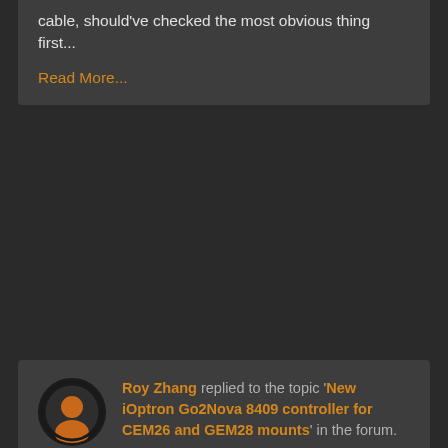cable, should've checked the most obvious thing first...
Read More...
Roy Zhang replied to the topic 'New iOptron Go2Nova 8409 controller for CEM26 and GEM28 mounts' in the forum.
2 years ago
Ok this is embarrassing. First the cable didn't work, the connector is different. But I tried to modify my own driver and it worked. Then i thought why not test it again with the old driver, and it turns out the v3 driver IS working